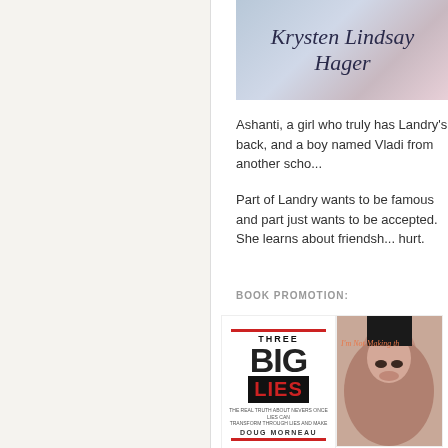[Figure (illustration): Author banner with cursive text reading 'Krysten Lindsay Hager' on a soft blue-pink gradient background]
Ashanti, a girl who truly has Landry's back, and a boy named Vladi from another scho...
Part of Landry wants to be famous and part just wants to be accepted. She learns about friendsh... hurt.
BOOK PROMOTION:
[Figure (photo): Book cover: Three Big Lies: The Real Truth About Nevers... by Doug Morneau. White cover with large bold text 'THREE BIG LIES', red accent lines, dark banner with 'LIES' in red.]
Three Big Lies: The Real Truth abou...
[Figure (photo): Book cover: 'I'm Not Making This Up' - showing a woman's face close-up]
I'm Not Making This Up - ki... ebo...